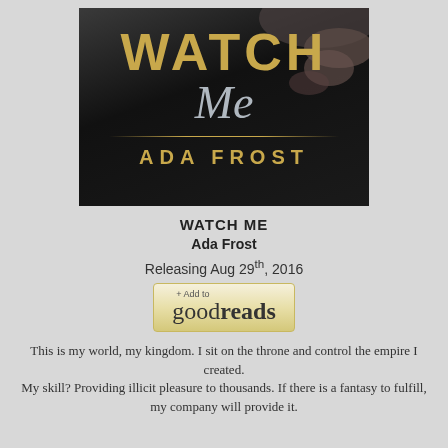[Figure (illustration): Book cover for 'Watch Me' by Ada Frost. Dark background with a man's torso/hand visible. Title 'WATCH' in large gold serif letters, 'Me' in silver italic script below, then 'ADA FROST' in gold capital letters, separated by a decorative gold line.]
WATCH ME
Ada Frost
Releasing Aug 29th, 2016
[Figure (logo): + Add to goodreads button with parchment/gold background]
This is my world, my kingdom. I sit on the throne and control the empire I created. My skill? Providing illicit pleasure to thousands. If there is a fantasy to fulfill, my company will provide it.